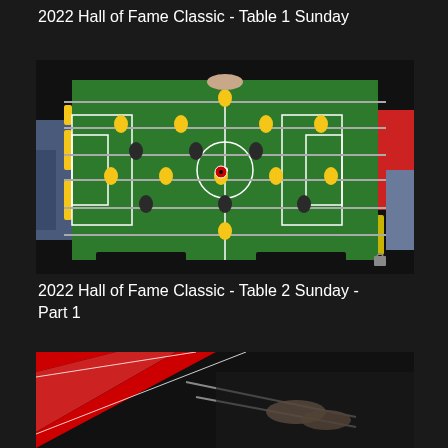2022 Hall of Fame Classic - Table 1 Sunday
[Figure (photo): Overhead view of a foosball table during a tournament match, showing yellow and black player figurines on a green field. Players' hands are visible on the sides.]
2022 Hall of Fame Classic - Table 2 Sunday - Part 1
[Figure (photo): Partial view of a foosball table with red and black diagonal stripes visible at the bottom of the page, showing a second tournament video thumbnail.]